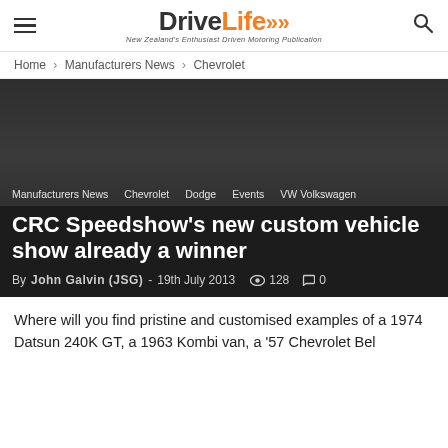DriveLife — New Zealand's Enthusiast Driven Motoring Publication
Home › Manufacturers News › Chevrolet
[Figure (photo): Dark hero image background for article page]
Manufacturers News
Chevrolet
Dodge
Events
VW Volkswagen
CRC Speedshow's new custom vehicle show already a winner
By John Galvin (JSG) - 19th July 2013  128  0
Where will you find pristine and customised examples of a 1974 Datsun 240K GT, a 1963 Kombi van, a '57 Chevrolet Bel